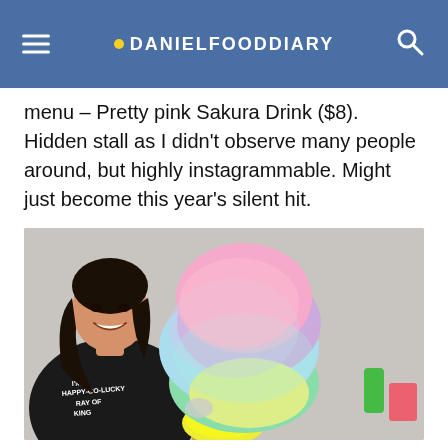DANIELFOODDIARY
menu – Pretty pink Sakura Drink ($8). Hidden stall as I didn't observe many people around, but highly instagrammable. Might just become this year's silent hit.
[Figure (photo): A young woman in a black t-shirt smiling beside a large rainbow-colored cotton candy on a stick over a yellow lemon base, at a food stall with items in the background.]